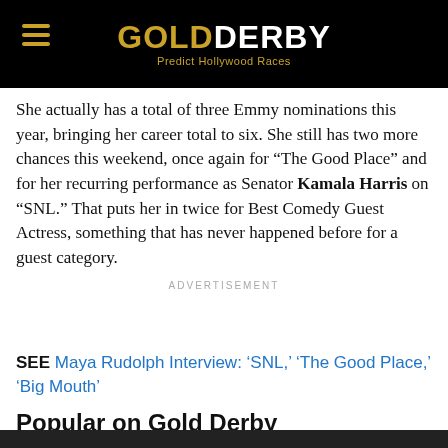GOLDDERBY — Predict Hollywood Races
She actually has a total of three Emmy nominations this year, bringing her career total to six. She still has two more chances this weekend, once again for “The Good Place” and for her recurring performance as Senator Kamala Harris on “SNL.” That puts her in twice for Best Comedy Guest Actress, something that has never happened before for a guest category.
ADVERTISEMENT
SEE Maya Rudolph Interview: ‘SNL,’ ‘The Good Place,’ ‘Big Mouth’
Popular on Gold Derby